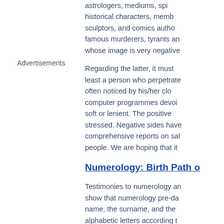astrologers, mediums, spi... historical characters, memb... sculptors, and comics author... famous murderers, tyrants an... whose image is very negative...
Advertisements
Regarding the latter, it must... least a person who perpetrate... often noticed by his/her clo... computer programmes devoi... soft or lenient. The positive... stressed. Negative sides have... comprehensive reports on sal... people. We are hoping that it ...
Numerology: Birth Path o...
Testimonies to numerology an... show that numerology pre-da... name, the surname, and the... alphabetic letters according t...